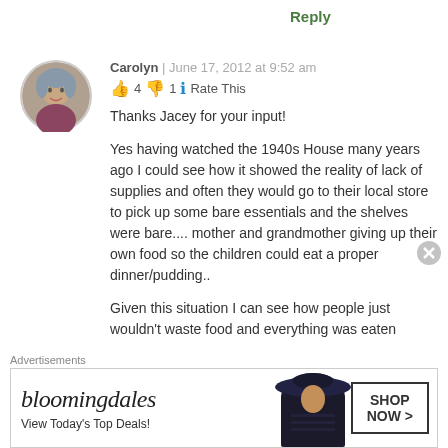Reply
Carolyn | June 17, 2012 at 9:52 am
👍 4 👎 1 ℹ Rate This
Thanks Jacey for your input!

Yes having watched the 1940s House many years ago I could see how it showed the reality of lack of supplies and often they would go to their local store to pick up some bare essentials and the shelves were bare.... mother and grandmother giving up their own food so the children could eat a proper dinner/pudding..

Given this situation I can see how people just wouldn't waste food and everything was eaten
[Figure (photo): Circular avatar photo of Carolyn, a woman with styled hair]
Advertisements
[Figure (other): Bloomingdales advertisement banner with text 'View Today's Top Deals!' and 'SHOP NOW >' button]